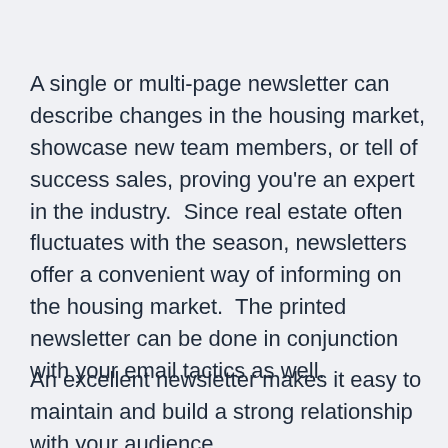A single or multi-page newsletter can describe changes in the housing market, showcase new team members, or tell of success sales, proving you're an expert in the industry.  Since real estate often fluctuates with the season, newsletters offer a convenient way of informing on the housing market.  The printed newsletter can be done in conjunction with your email tactics as well.
An excellent newsletter makes it easy to maintain and build a strong relationship with your audience.